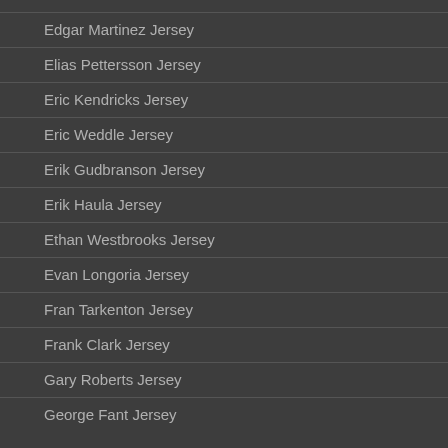Edgar Martinez Jersey
Elias Pettersson Jersey
Eric Kendricks Jersey
Eric Weddle Jersey
Erik Gudbranson Jersey
Erik Haula Jersey
Ethan Westbrooks Jersey
Evan Longoria Jersey
Fran Tarkenton Jersey
Frank Clark Jersey
Gary Roberts Jersey
George Fant Jersey